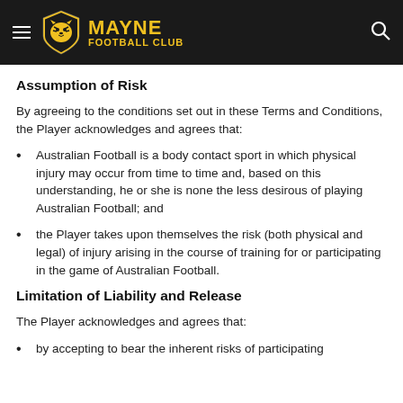Mayne Football Club
Assumption of Risk
By agreeing to the conditions set out in these Terms and Conditions, the Player acknowledges and agrees that:
Australian Football is a body contact sport in which physical injury may occur from time to time and, based on this understanding, he or she is none the less desirous of playing Australian Football; and
the Player takes upon themselves the risk (both physical and legal) of injury arising in the course of training for or participating in the game of Australian Football.
Limitation of Liability and Release
The Player acknowledges and agrees that:
by accepting to bear the inherent risks of participating